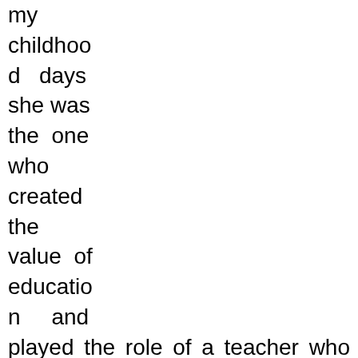my childhood days she was the one who created the value of education and played the role of a teacher who seemed to have an answer to each and every problem that I encountered; be it the hassles with my peer or something related to academics. She has always encouraged me to participate in all extracurricular activities during my school days which have really helped me to boost my confidence.